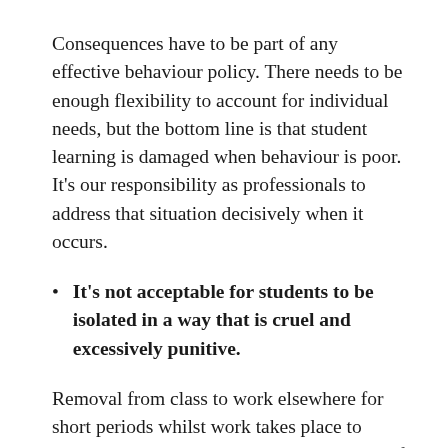Consequences have to be part of any effective behaviour policy. There needs to be enough flexibility to account for individual needs, but the bottom line is that student learning is damaged when behaviour is poor. It's our responsibility as professionals to address that situation decisively when it occurs.
It's not acceptable for students to be isolated in a way that is cruel and excessively punitive.
Removal from class to work elsewhere for short periods whilst work takes place to correct long-term behaviour is a good way of addressing a